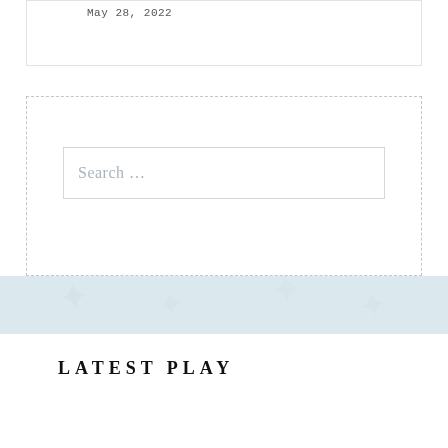May 28, 2022
Search ...
LATEST PLAY